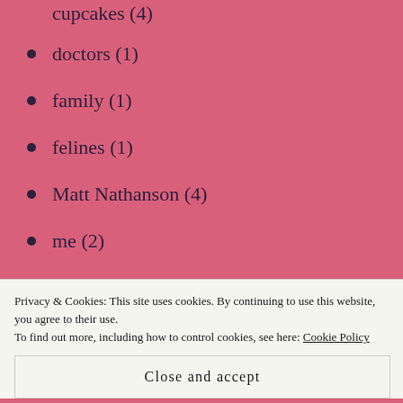cupcakes (4)
doctors (1)
family (1)
felines (1)
Matt Nathanson (4)
me (2)
music (7)
ohinoh (2)
photo a day (7)
rage (2)
recipes (4)
tumblr (13)
Privacy & Cookies: This site uses cookies. By continuing to use this website, you agree to their use. To find out more, including how to control cookies, see here: Cookie Policy
Close and accept